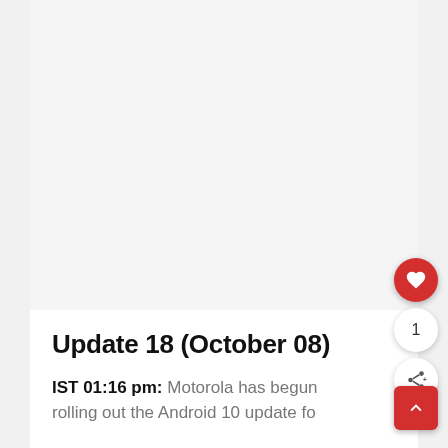[Figure (other): Large image placeholder area (light gray background), mostly empty/white content area at top of article card]
Update 18 (October 08)
IST 01:16 pm: Motorola has begun rolling out the Android 10 update for